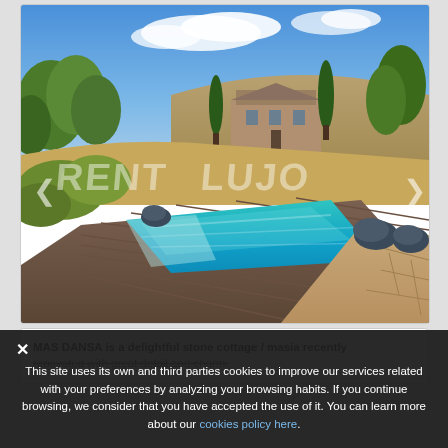[Figure (photo): Outdoor swimming pool with wooden deck surround and stone patio, overlooking a stone farmhouse/masia with trees and blue sky with clouds. Watermark text 'RENT LUJO' visible across the image.]
MAS DANSA is a delightful stone cottage / masia recently renovated with great detail and charm.
✕ This site uses its own and third parties cookies to improve our services related with your preferences by analyzing your browsing habits. If you continue browsing, we consider that you have accepted the use of it. You can learn more about our cookies policy here.